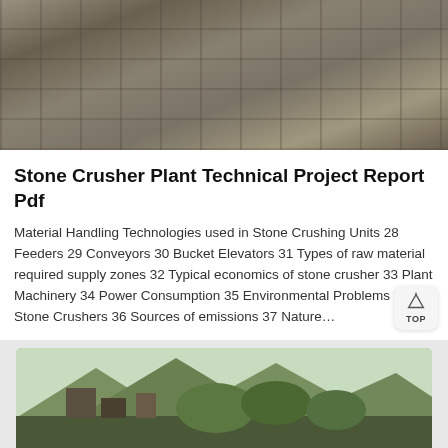[Figure (photo): Stone crusher plant machinery viewed from above, showing concrete slabs and industrial equipment with cables]
Stone Crusher Plant Technical Project Report Pdf
Material Handling Technologies used in Stone Crushing Units 28 Feeders 29 Conveyors 30 Bucket Elevators 31 Types of raw material required supply zones 32 Typical economics of stone crusher 33 Plant Machinery 34 Power Consumption 35 Environmental Problems in Stone Crushers 36 Sources of emissions 37 Nature…
[Figure (photo): Stone crusher plant facility in a mountainous area with green hills in background]
[Figure (photo): Customer service representative avatar with headset for online chat support]